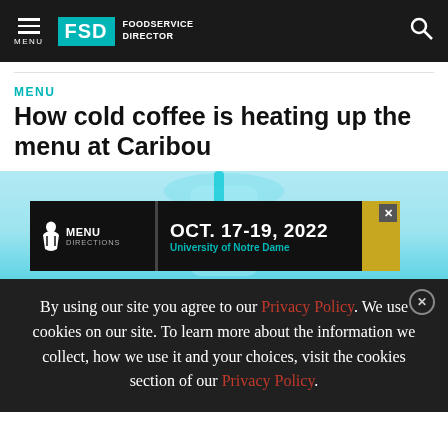FSD FOODSERVICE DIRECTOR — MENU
MENU
How cold coffee is heating up the menu at Caribou
[Figure (photo): Light blue/teal background showing a cold coffee drink with teal straw; overlaid with a Menu Directions event advertisement banner: OCT. 17-19, 2022, University of Notre Dame]
By using our site you agree to our Privacy Policy. We use cookies on our site. To learn more about the information we collect, how we use it and your choices, visit the cookies section of our Privacy Policy.